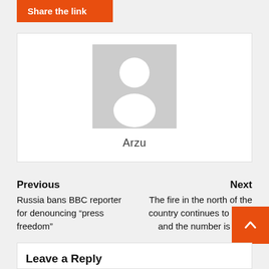Share the link
[Figure (illustration): Author avatar placeholder — grey square with white silhouette person icon, name 'Arzu' below]
Arzu
Previous
Russia bans BBC reporter for denouncing “press freedom”
Next
The fire in the north of the country continues to burn, and the number is incre...
Leave a Reply